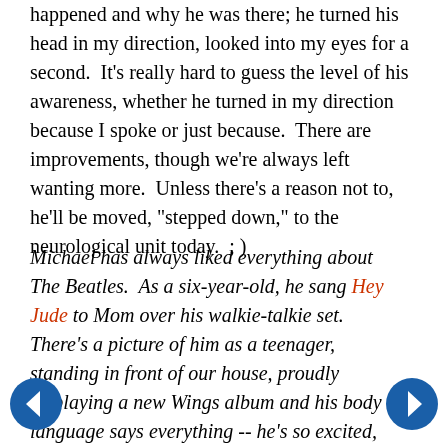happened and why he was there; he turned his head in my direction, looked into my eyes for a second.  It's really hard to guess the level of his awareness, whether he turned in my direction because I spoke or just because.  There are improvements, though we're always left wanting more.  Unless there's a reason not to, he'll be moved, "stepped down," to the neurological unit today.  ; )
Michael has always liked everything about The Beatles.  As a six-year-old, he sang Hey Jude to Mom over his walkie-talkie set. There's a picture of him as a teenager, standing in front of our house, proudly displaying a new Wings album and his body language says everything -- he's so excited, he's practically standing on tip-toes!